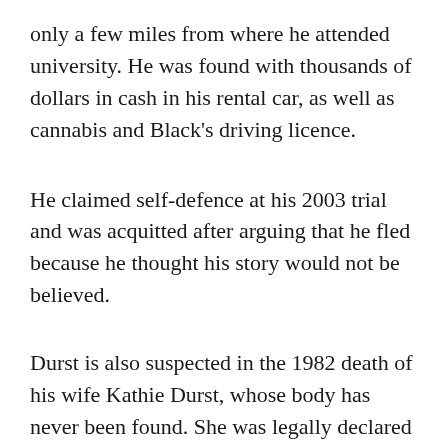only a few miles from where he attended university. He was found with thousands of dollars in cash in his rental car, as well as cannabis and Black's driving licence.
He claimed self-defence at his 2003 trial and was acquitted after arguing that he fled because he thought his story would not be believed.
Durst is also suspected in the 1982 death of his wife Kathie Durst, whose body has never been found. She was legally declared dead in 2017.
He was formally indicted for her murder in November by the Westchester Country District Attorney's office in New York.